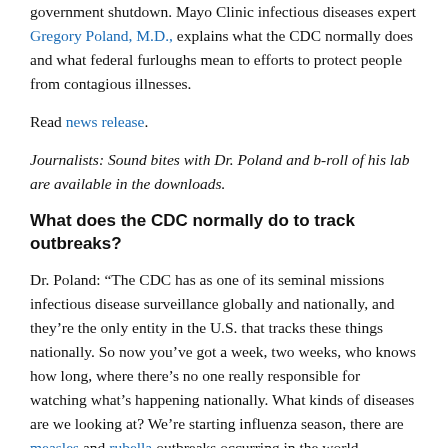government shutdown. Mayo Clinic infectious diseases expert Gregory Poland, M.D., explains what the CDC normally does and what federal furloughs mean to efforts to protect people from contagious illnesses.
Read news release.
Journalists: Sound bites with Dr. Poland and b-roll of his lab are available in the downloads.
What does the CDC normally do to track outbreaks?
Dr. Poland: “The CDC has as one of its seminal missions infectious disease surveillance globally and nationally, and they’re the only entity in the U.S. that tracks these things nationally. So now you’ve got a week, two weeks, who knows how long, where there’s no one really responsible for watching what’s happening nationally. What kinds of diseases are we looking at? We’re starting influenza season, there are measles and rubella outbreaks occurring in the world